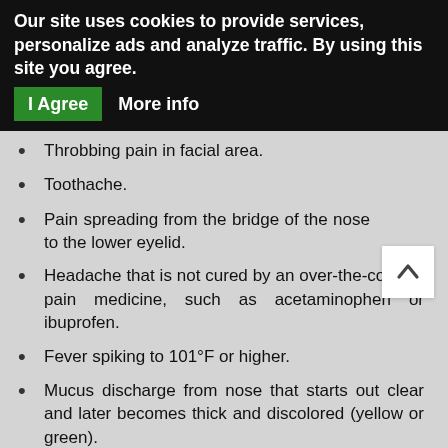Our site uses cookies to provide services, personalize ads and analyze traffic. By using this site you agree.
I Agree    More info
Throbbing pain in facial area.
Toothache.
Pain spreading from the bridge of the nose to the lower eyelid.
Headache that is not cured by an over-the-counter pain medicine, such as acetaminophen or ibuprofen.
Fever spiking to 101°F or higher.
Mucus discharge from nose that starts out clear and later becomes thick and discolored (yellow or green).
Flu symptoms that last longer than ten days or get worse after the first week.
Mild or throbbing pain in the face that lasts longer than a